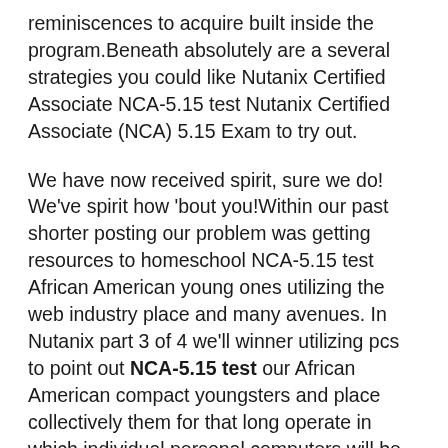reminiscences to acquire built inside the program.Beneath absolutely are a several strategies you could like Nutanix Certified Associate NCA-5.15 test Nutanix Certified Associate (NCA) 5.15 Exam to try out.
We have now received spirit, sure we do! We've spirit how 'bout you!Within our past shorter posting our problem was getting resources to homeschool NCA-5.15 test African American young ones utilizing the web industry place and many avenues. In Nutanix part 3 of 4 we'll winner utilizing pcs to point out NCA-5.15 test our African American compact youngsters and place collectively them for that long operate in which individual personal computers will be connected with practically every NCA-5.15 Exam aspect Nutanix Certified Associate Nutanix Certified Associate (NCA) 5.15 Exam of Nutanix our society.